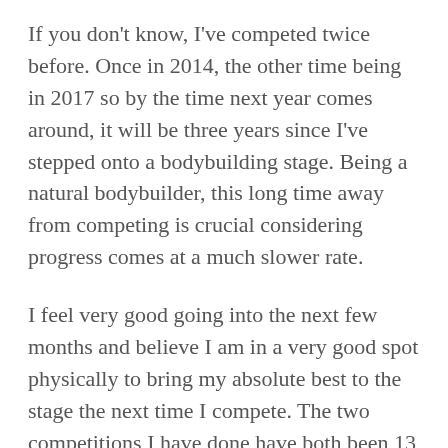If you don't know, I've competed twice before. Once in 2014, the other time being in 2017 so by the time next year comes around, it will be three years since I've stepped onto a bodybuilding stage. Being a natural bodybuilder, this long time away from competing is crucial considering progress comes at a much slower rate.
I feel very good going into the next few months and believe I am in a very good spot physically to bring my absolute best to the stage the next time I compete. The two competitions I have done have both been 13 week preps which were very short and rushed. I will be anxious to see how I fair giving myself 16-20 weeks to prepare this time around!
Enough about competing! The real reason I'm sure you're reading this is for the workout I